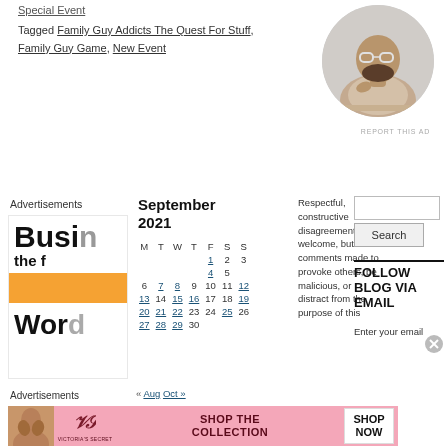Special Event
Tagged Family Guy Addicts The Quest For Stuff, Family Guy Game, New Event
[Figure (photo): Circular portrait photo of a man wearing glasses, sitting at a desk in a thoughtful pose]
REPORT THIS AD
Advertisements
[Figure (screenshot): Advertisement box showing bold text 'Busi... the f...' and 'Word...' with orange background strip]
| M | T | W | T | F | S | S |
| --- | --- | --- | --- | --- | --- | --- |
|  |  | 1 | 2 | 3 | 4 | 5 |
| 6 | 7 | 8 | 9 | 10 | 11 | 12 |
| 13 | 14 | 15 | 16 | 17 | 18 | 19 |
| 20 | 21 | 22 | 23 | 24 | 25 | 26 |
| 27 | 28 | 29 | 30 |  |  |  |
September 2021
« Aug   Oct »
Respectful, constructive disagreement is welcome, but comments made to provoke others, be malicious, or distract from the purpose of this
FOLLOW BLOG VIA EMAIL
Enter your email
Advertisements
[Figure (photo): Victoria's Secret advertisement banner with model photo, VS logo, 'SHOP THE COLLECTION' text and 'SHOP NOW' button]